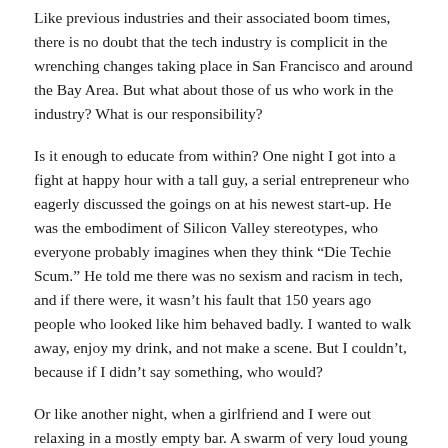Like previous industries and their associated boom times, there is no doubt that the tech industry is complicit in the wrenching changes taking place in San Francisco and around the Bay Area. But what about those of us who work in the industry? What is our responsibility?
Is it enough to educate from within? One night I got into a fight at happy hour with a tall guy, a serial entrepreneur who eagerly discussed the goings on at his newest start-up. He was the embodiment of Silicon Valley stereotypes, who everyone probably imagines when they think “Die Techie Scum.” He told me there was no sexism and racism in tech, and if there were, it wasn’t his fault that 150 years ago people who looked like him behaved badly. I wanted to walk away, enjoy my drink, and not make a scene. But I couldn’t, because if I didn’t say something, who would?
Or like another night, when a girlfriend and I were out relaxing in a mostly empty bar. A swarm of very loud young